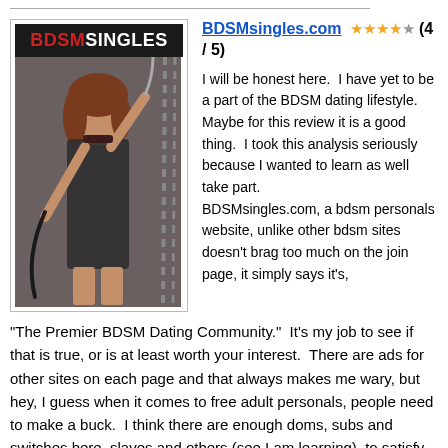[Figure (photo): Image block showing BDSM Singles logo on dark background and a photo of a woman]
BDSMsingles.com ★★★★☆ (4 / 5)
I will be honest here. I have yet to be a part of the BDSM dating lifestyle. Maybe for this review it is a good thing. I took this analysis seriously because I wanted to learn as well take part. BDSMsingles.com, a bdsm personals website, unlike other bdsm sites doesn't brag too much on the join page, it simply says it's, "The Premier BDSM Dating Community." It's my job to see if that is true, or is at least worth your interest. There are ads for other sites on each page and that always makes me wary, but hey, I guess when it comes to free adult personals, people need to make a buck. I think there are enough doms, subs and switches here, slaves and others (see I am learning), to satisfy anyone seeking serious fetish dating adult personals. There are 2 people into this lifestyle here with me in my office and for a few days I